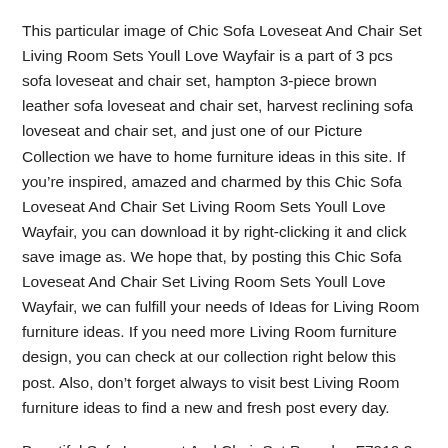This particular image of Chic Sofa Loveseat And Chair Set Living Room Sets Youll Love Wayfair is a part of 3 pcs sofa loveseat and chair set, hampton 3-piece brown leather sofa loveseat and chair set, harvest reclining sofa loveseat and chair set, and just one of our Picture Collection we have to home furniture ideas in this site. If you’re inspired, amazed and charmed by this Chic Sofa Loveseat And Chair Set Living Room Sets Youll Love Wayfair, you can download it by right-clicking it and click save image as. We hope that, by posting this Chic Sofa Loveseat And Chair Set Living Room Sets Youll Love Wayfair, we can fulfill your needs of Ideas for Living Room furniture ideas. If you need more Living Room furniture design, you can check at our collection right below this post. Also, don’t forget always to visit best Living Room furniture ideas to find a new and fresh post every day.
Beautiful Sofa Loveseat And Chair Set Poundex F7910 3 Pcs Dark Brown Plush Microfiber Sofa Loveseat. Brilliant Sofa Loveseat And Chair Set Sofa Loveseat And Chair Set Center Divinity. Chic Sofa Loveseat And Chair Set Sofa Loveseat Chair Set Center Divinity. Unique Sofa Loveseat And Chair Set Carla Sofa Loveseat And Chair Set Chocolate Value City Furniture. Chic Sofa Loveseat And Chair Set Living Room Sets Youll Love Wayfair. Fabulous Sofa Loveseat